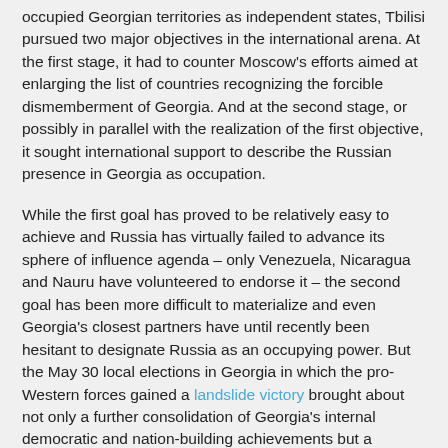occupied Georgian territories as independent states, Tbilisi pursued two major objectives in the international arena. At the first stage, it had to counter Moscow's efforts aimed at enlarging the list of countries recognizing the forcible dismemberment of Georgia. And at the second stage, or possibly in parallel with the realization of the first objective, it sought international support to describe the Russian presence in Georgia as occupation.
While the first goal has proved to be relatively easy to achieve and Russia has virtually failed to advance its sphere of influence agenda – only Venezuela, Nicaragua and Nauru have volunteered to endorse it – the second goal has been more difficult to materialize and even Georgia's closest partners have until recently been hesitant to designate Russia as an occupying power. But the May 30 local elections in Georgia in which the pro-Western forces gained a landslide victory brought about not only a further consolidation of Georgia's internal democratic and nation-building achievements but a stronger international attendance toward Tbilisi's outstanding security problems as well.